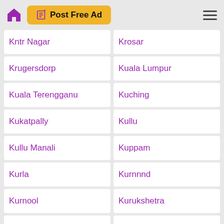Post Free Ad
Kntr Nagar
Krosar
Krugersdorp
Kuala Lumpur
Kuala Terengganu
Kuching
Kukatpally
Kullu
Kullu Manali
Kuppam
Kurla
Kurnnnd
Kurnool
Kurukshetra
Kurumbapalayam
Kuwait